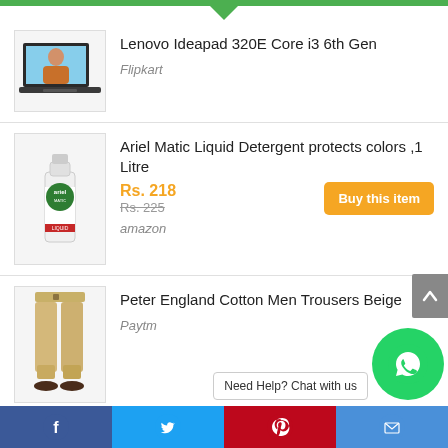[Figure (screenshot): E-commerce product listing page showing multiple products with images, prices, and seller info]
Lenovo Ideapad 320E Core i3 6th Gen
Flipkart
Ariel Matic Liquid Detergent protects colors ,1 Litre
Rs. 218
Rs. 225
Buy this item
amazon
Peter England Cotton Men Trousers Beige
Paytm
Xiaomi Redmi Note 8 4G Smartphone Global Version 6.3 inch MIUI 10 Snapdragon 665 Octa Core 4GB RAM 128GB ROM T
Need Help? Chat with us